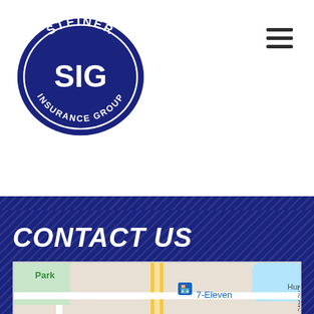[Figure (logo): Steiner Insurance Group (SIG) circular logo with dark navy blue oval background, white text reading STEINER at top, SIG in large letters in center, and INSURANCE GROUP at bottom]
[Figure (map): Google Maps screenshot showing area around 1161 Sonoma Park Dr, Norman OK. Visible landmarks: 7-Eleven, Credit Union Service Center, IHOP, Norman Veterans Center. Streets: E Robinson St, Huron St, State Dr, Erie Ave.]
CONTACT US
1161 Sonoma Park Dr
Suite 200